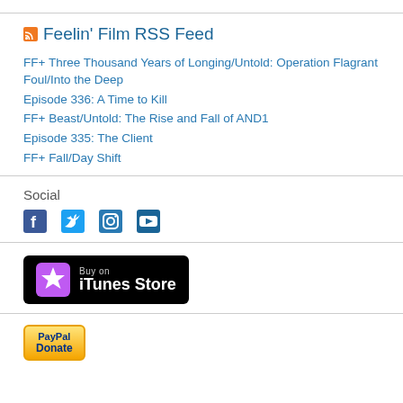Feelin' Film RSS Feed
FF+ Three Thousand Years of Longing/Untold: Operation Flagrant Foul/Into the Deep
Episode 336: A Time to Kill
FF+ Beast/Untold: The Rise and Fall of AND1
Episode 335: The Client
FF+ Fall/Day Shift
Social
[Figure (illustration): Social media icons: Facebook, Twitter, Instagram, YouTube]
[Figure (logo): Buy on iTunes Store badge - black rounded rectangle with star icon and text]
[Figure (logo): PayPal Donate button - yellow/orange badge with PayPal text and Donate label]